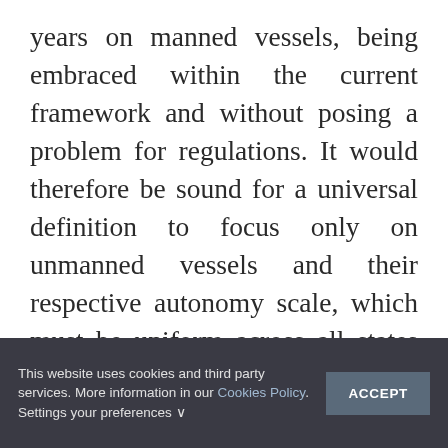years on manned vessels, being embraced within the current framework and without posing a problem for regulations. It would therefore be sound for a universal definition to focus only on unmanned vessels and their respective autonomy scale, which must be uniform across all states and organisations, if the industry is to achieve harmonisation.

In this light, since it is a vessel's unmanned orientation that poses a problem, there is no
This website uses cookies and third party services. More information in our Cookies Policy. Settings your preferences ∨
ACCEPT